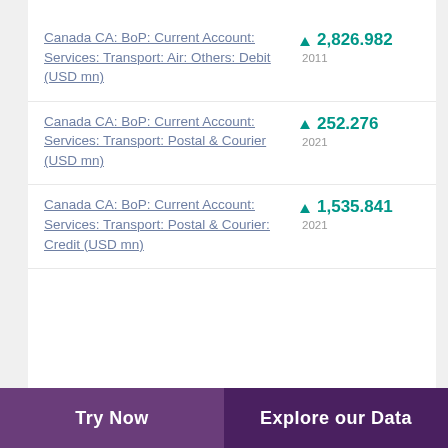Canada CA: BoP: Current Account: Services: Transport: Air: Others: Debit (USD mn)
Canada CA: BoP: Current Account: Services: Transport: Postal & Courier (USD mn)
Canada CA: BoP: Current Account: Services: Transport: Postal & Courier: Credit (USD mn)
Try Now | Explore our Data